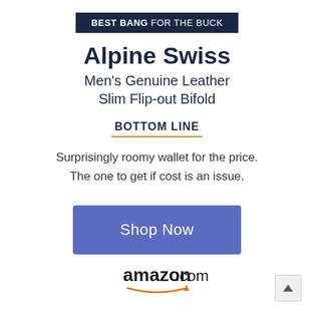BEST BANG FOR THE BUCK
Alpine Swiss
Men's Genuine Leather Slim Flip-out Bifold
BOTTOM LINE
Surprisingly roomy wallet for the price. The one to get if cost is an issue.
Shop Now
[Figure (logo): amazon.com logo with smile arc underneath]